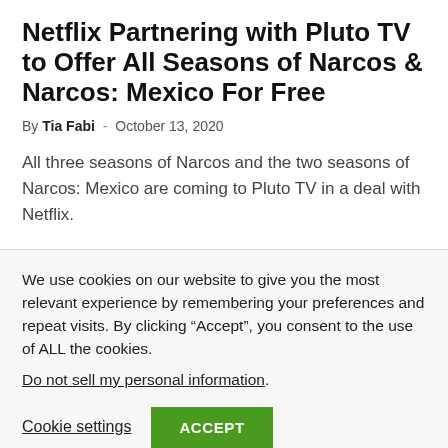Netflix Partnering with Pluto TV to Offer All Seasons of Narcos & Narcos: Mexico For Free
By Tia Fabi - October 13, 2020
All three seasons of Narcos and the two seasons of Narcos: Mexico are coming to Pluto TV in a deal with Netflix.
We use cookies on our website to give you the most relevant experience by remembering your preferences and repeat visits. By clicking “Accept”, you consent to the use of ALL the cookies.
Do not sell my personal information.
Cookie settings  ACCEPT